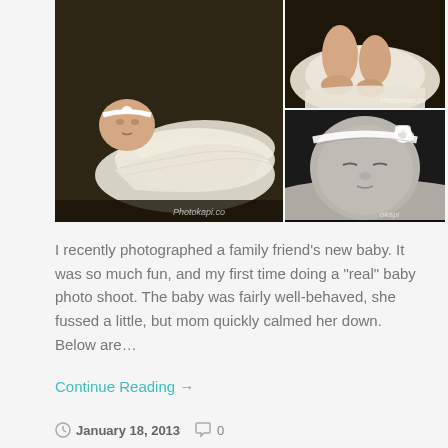[Figure (photo): Collage of three newborn baby photography shots by Photokapi. Left large photo: baby in white dress lying on dark background. Top right: baby's feet/legs detail. Bottom right: close-up black and white portrait of sleeping baby with white flower headband.]
I recently photographed a family friend's new baby. It was so much fun, and my first time doing a "real" baby photo shoot. The baby was fairly well-behaved, she fussed a little, but mom quickly calmed her down. Below are…
Continue Reading →
January 18, 2013   0